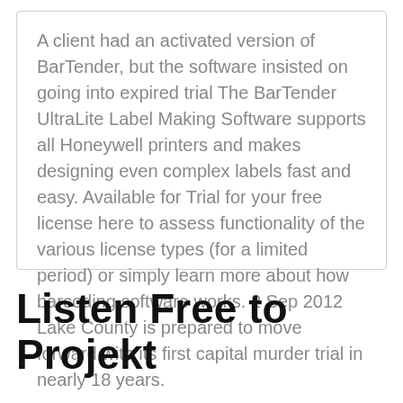A client had an activated version of BarTender, but the software insisted on going into expired trial  The BarTender UltraLite Label Making Software supports all Honeywell printers and makes designing even complex labels fast and easy. Available for  Trial for your free license here to assess functionality of the various license types (for a limited period) or simply learn more about how barcoding software works. 2 Sep 2012 Lake County is prepared to move forward with its first capital murder trial in nearly 18 years.
Listen Free to Projekt